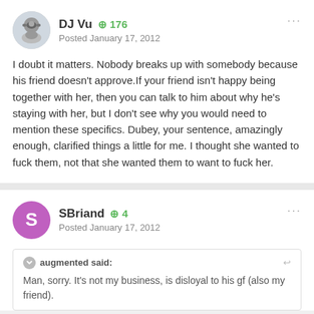DJ Vu  ⊕ 176
Posted January 17, 2012
I doubt it matters. Nobody breaks up with somebody because his friend doesn't approve.If your friend isn't happy being together with her, then you can talk to him about why he's staying with her, but I don't see why you would need to mention these specifics. Dubey, your sentence, amazingly enough, clarified things a little for me. I thought she wanted to fuck them, not that she wanted them to want to fuck her.
SBriand  ⊕ 4
Posted January 17, 2012
augmented said:
Man, sorry. It's not my business, is disloyal to his gf (also my friend).